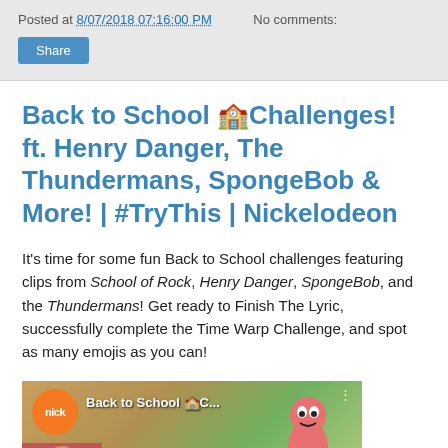Posted at 8/07/2018 07:16:00 PM   No comments:
Back to School 🏫Challenges! ft. Henry Danger, The Thundermans, SpongeBob & More! | #TryThis | Nickelodeon
It's time for some fun Back to School challenges featuring clips from School of Rock, Henry Danger, SpongeBob, and the Thundermans! Get ready to Finish The Lyric, successfully complete the Time Warp Challenge, and spot as many emojis as you can!
[Figure (screenshot): YouTube video thumbnail showing Nickelodeon's Back to School Challenges video with nick logo, video title overlay, and characters]